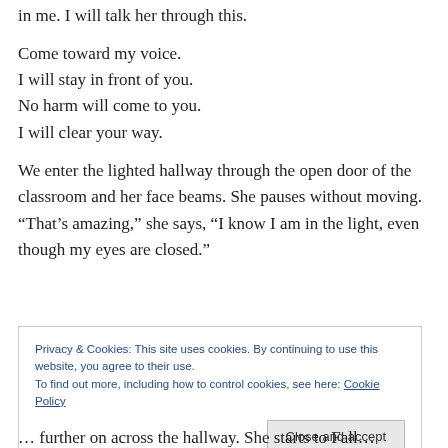in me. I will talk her through this.
Come toward my voice.
I will stay in front of you.
No harm will come to you.
I will clear your way.
We enter the lighted hallway through the open door of the classroom and her face beams. She pauses without moving. “That’s amazing,” she says, “I know I am in the light, even though my eyes are closed.”
Privacy & Cookies: This site uses cookies. By continuing to use this website, you agree to their use.
To find out more, including how to control cookies, see here: Cookie Policy
Close and accept
... further on across the hallway. She starts to Fall...